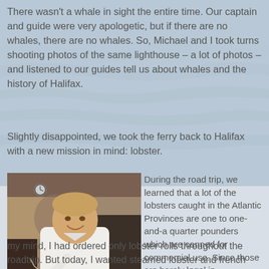There wasn't a whale in sight the entire time. Our captain and guide were very apologetic, but if there are no whales, there are no whales. So, Michael and I took turns shooting photos of the same lighthouse – a lot of photos – and listened to our guides tell us about whales and the history of Halifax.
Slightly disappointed, we took the ferry back to Halifax with a new mission in mind: lobster.
[Figure (photo): A man in a white shirt sitting at a restaurant table, holding a fork with food, with a lobster or seafood dish visible on the table in front of him.]
During the road trip, we learned that a lot of the lobsters caught in the Atlantic Provinces are one to one-and-a quarter pounders which are canned for commercial use. Since those are barely legal in my mind, I had ordered only lobster rolls throughout the roadtrip. But today, I wanted steamed lobster and french fries.